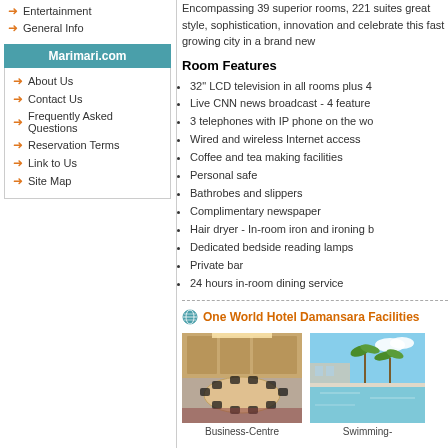Entertainment
General Info
Marimari.com
About Us
Contact Us
Frequently Asked Questions
Reservation Terms
Link to Us
Site Map
Encompassing 39 superior rooms, 221 suites great style, sophistication, innovation and celebrate this fast growing city in a brand new
Room Features
32" LCD television in all rooms plus 4
Live CNN news broadcast - 4 feature
3 telephones with IP phone on the wo
Wired and wireless Internet access
Coffee and tea making facilities
Personal safe
Bathrobes and slippers
Complimentary newspaper
Hair dryer - In-room iron and ironing b
Dedicated bedside reading lamps
Private bar
24 hours in-room dining service
One World Hotel Damansara Facilities
[Figure (photo): Conference room / Business-Centre with oval table and chairs]
Business-Centre
[Figure (photo): Swimming pool with palm trees and blue sky]
Swimming-